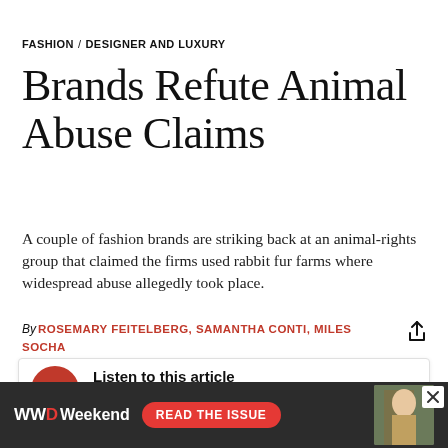FASHION / DESIGNER AND LUXURY
Brands Refute Animal Abuse Claims
A couple of fashion brands are striking back at an animal-rights group that claimed the firms used rabbit fur farms where widespread abuse allegedly took place.
By ROSEMARY FEITELBERG, SAMANTHA CONTI, MILES SOCHA
SEPTEMBER 16, 2014, 12:02AM
[Figure (other): Audio player widget with red circular play button and waveform visualization. Label reads 'Listen to this article']
[Figure (other): Advertisement banner for WWD Weekend with 'READ THE ISSUE' button and photo of a person]